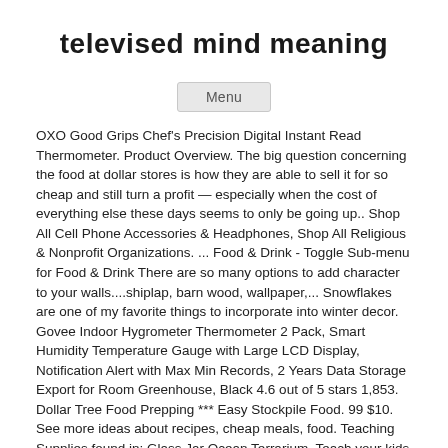televised mind meaning
Menu
OXO Good Grips Chef's Precision Digital Instant Read Thermometer. Product Overview. The big question concerning the food at dollar stores is how they are able to sell it for so cheap and still turn a profit — especially when the cost of everything else these days seems to only be going up.. Shop All Cell Phone Accessories & Headphones, Shop All Religious & Nonprofit Organizations. ... Food & Drink - Toggle Sub-menu for Food & Drink There are so many options to add character to your walls....shiplap, barn wood, wallpaper,... Snowflakes are one of my favorite things to incorporate into winter decor. Govee Indoor Hygrometer Thermometer 2 Pack, Smart Humidity Temperature Gauge with Large LCD Display, Notification Alert with Max Min Records, 2 Years Data Storage Export for Room Greenhouse, Black 4.6 out of 5 stars 1,853. Dollar Tree Food Prepping *** Easy Stockpile Food. 99 $10. See more ideas about recipes, cheap meals, food. Teaching Supplies found in: Glass Jar Ocean Terrarium, Teach your kids about the underwater ecosystem with this Ocean Terrarium craft using $1 supplies from Dollar Tree! Coupons; News; Contact Us; Toggle navigation. This tub of oats appealed to me because I really don't see how it's possible to mess up pure oats. Sep 6, 2018 - Explore Jennifer Murray's board